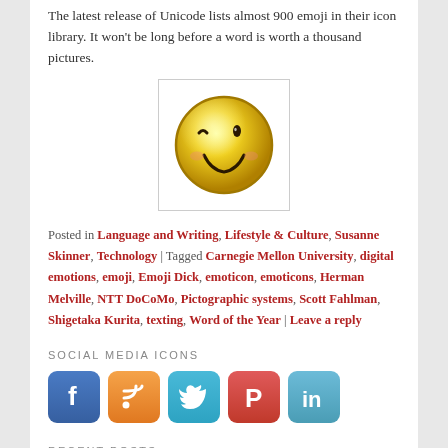The latest release of Unicode lists almost 900 emoji in their icon library. It won't be long before a word is worth a thousand pictures.
[Figure (illustration): Yellow winking smiley face emoji inside a white box with light gray border]
Posted in Language and Writing, Lifestyle & Culture, Susanne Skinner, Technology | Tagged Carnegie Mellon University, digital emotions, emoji, Emoji Dick, emoticon, emoticons, Herman Melville, NTT DoCoMo, Pictographic systems, Scott Fahlman, Shigetaka Kurita, texting, Word of the Year | Leave a reply
SOCIAL MEDIA ICONS
[Figure (illustration): Row of five social media icons: Facebook (blue), RSS (orange), Twitter (teal), Pinterest (red), LinkedIn (blue-teal)]
RECENT POSTS